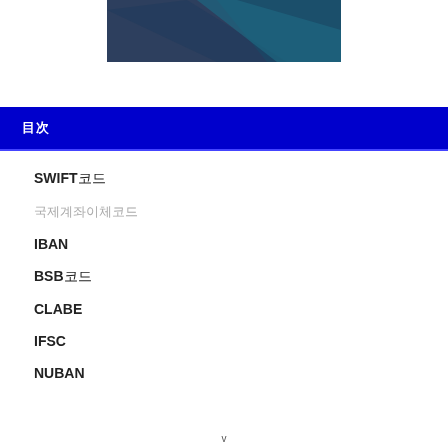[Figure (illustration): Abstract blue geometric header image with dark blue and teal diagonal shapes]
目次
SWIFT코드
국제계좌이체코드
IBAN
BSB코드
CLABE
IFSC
NUBAN
v